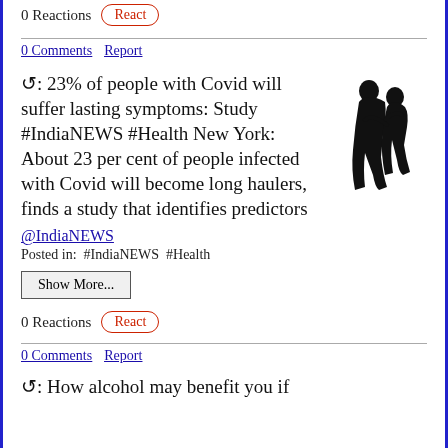0 Reactions   React
0 Comments   Report
↺: 23% of people with Covid will suffer lasting symptoms: Study #IndiaNEWS #Health New York: About 23 per cent of people infected with Covid will become long haulers, finds a study that identifies predictors
@IndiaNEWS
Posted in:  #IndiaNEWS  #Health
Show More...
0 Reactions   React
0 Comments   Report
↺: How alcohol may benefit you if